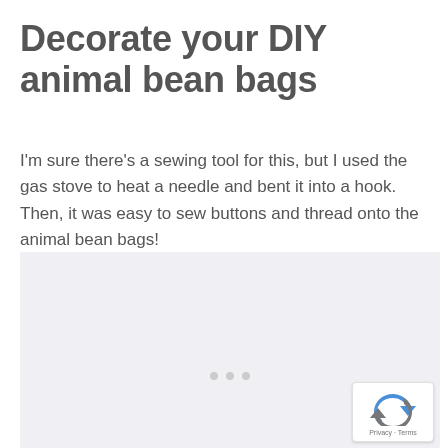Decorate your DIY animal bean bags
I'm sure there's a sewing tool for this, but I used the gas stove to heat a needle and bent it into a hook. Then, it was easy to sew buttons and thread onto the animal bean bags!
[Figure (photo): Light gray placeholder image area for a photo related to decorating DIY animal bean bags, with three gray navigation dots at the bottom center and a reCAPTCHA badge in the lower right corner.]